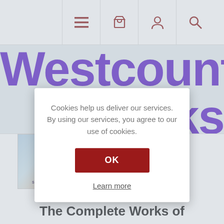Navigation icons: menu, basket, account, search
Westcountry books
Cookies help us deliver our services. By using our services, you agree to our use of cookies.
OK
Learn more
[Figure (illustration): Two book covers for The Complete Works of William Shakespeare]
The Complete Works of